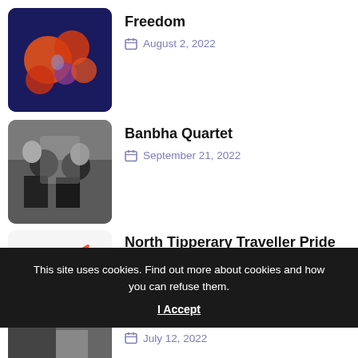[Figure (photo): Thumbnail image of fruit and spheres on dark blue background]
Freedom
August 2, 2022
[Figure (photo): Thumbnail image of two people at an outdoor setting]
Banbha Quartet
September 21, 2022
[Figure (illustration): Thumbnail illustration of a unicorn with rainbow colors]
North Tipperary Traveller Pride Week 2022
July 19, 2022
[Figure (photo): Thumbnail image of colorful Kandinsky-style triangles and thread]
Kandinsky Triangles and Thread
July 1, 2022
This site uses cookies. Find out more about cookies and how you can refuse them.
I Accept
[Figure (photo): Partial thumbnail of an image at the bottom]
July 12, 2022